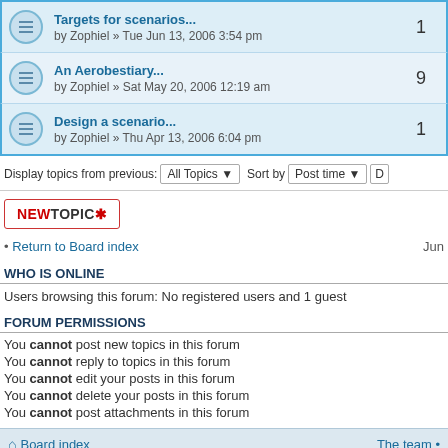Targets for scenarios... by Zophiel » Tue Jun 13, 2006 3:54 pm — 1 reply
An Aerobestiary... by Zophiel » Sat May 20, 2006 12:19 am — 9 replies
Design a scenario... by Zophiel » Thu Apr 13, 2006 6:04 pm — 1 reply
Display topics from previous: All Topics  Sort by  Post time
[Figure (other): NEW TOPIC button with asterisk icon]
• Return to Board index   Jun
WHO IS ONLINE
Users browsing this forum: No registered users and 1 guest
FORUM PERMISSIONS
You cannot post new topics in this forum
You cannot reply to topics in this forum
You cannot edit your posts in this forum
You cannot delete your posts in this forum
You cannot post attachments in this forum
Board index   The team •
Powered by phpBB® Forum Software © phpBB G